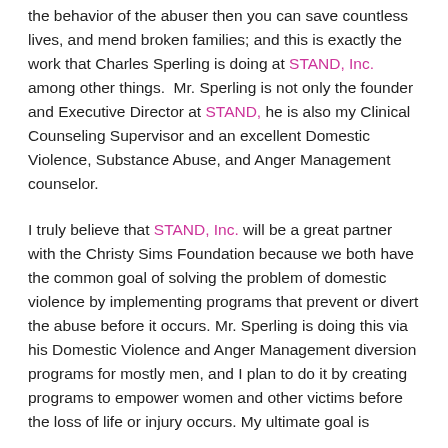the behavior of the abuser then you can save countless lives, and mend broken families; and this is exactly the work that Charles Sperling is doing at STAND, Inc. among other things.  Mr. Sperling is not only the founder and Executive Director at STAND, he is also my Clinical Counseling Supervisor and an excellent Domestic Violence, Substance Abuse, and Anger Management counselor.
I truly believe that STAND, Inc. will be a great partner with the Christy Sims Foundation because we both have the common goal of solving the problem of domestic violence by implementing programs that prevent or divert the abuse before it occurs. Mr. Sperling is doing this via his Domestic Violence and Anger Management diversion programs for mostly men, and I plan to do it by creating programs to empower women and other victims before the loss of life or injury occurs. My ultimate goal is